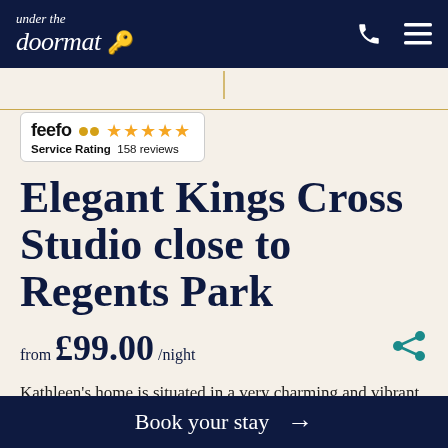under the doormat (logo with key icon)
[Figure (logo): Feefo service rating badge showing 4.5 stars and 158 reviews]
Elegant Kings Cross Studio close to Regents Park
from £99.00 /night
Kathleen's home is situated in a very charming and vibrant area of London, overlooking Regent's Square.
Book your stay →